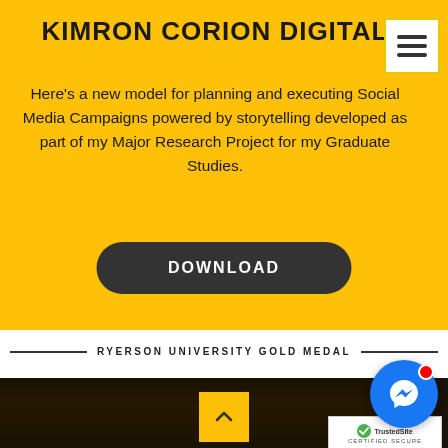KIMRON CORION DIGITAL
Here's a new model for planning and executing Social Media Campaigns powered by storytelling developed as part of my Major Research Project for my Graduate Studies.
[Figure (other): Download button - dark rounded rectangle with white bold text 'DOWNLOAD']
RYERSON UNIVERSITY GOLD MEDAL
[Figure (photo): Close-up photograph of a gold medal with embossed letters, dark background]
[Figure (other): Yellow scroll-up button with upward arrow chevron]
[Figure (other): Blue Facebook Messenger chat bubble icon circle]
[Figure (other): TrustedSite certified secure badge with green checkmark]